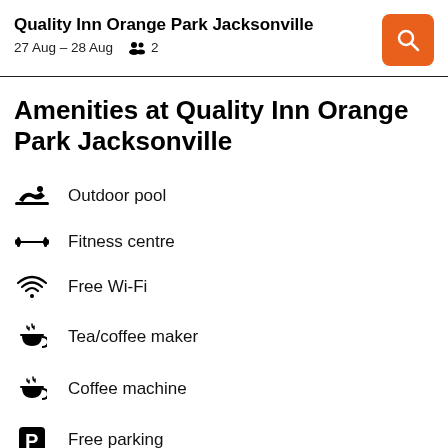Quality Inn Orange Park Jacksonville
27 Aug – 28 Aug  2
Amenities at Quality Inn Orange Park Jacksonville
Outdoor pool
Fitness centre
Free Wi-Fi
Tea/coffee maker
Coffee machine
Free parking